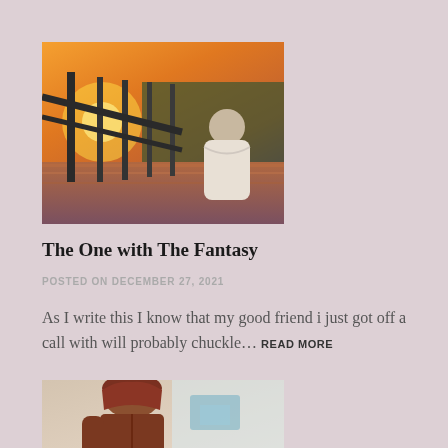[Figure (photo): Person in white hoodie standing at a metal railing overlooking water at sunset, warm orange sky and trees in background]
The One with The Fantasy
POSTED ON DECEMBER 27, 2021
As I write this I know that my good friend i just got off a call with will probably chuckle… READ MORE
[Figure (photo): Person with reddish-brown hair wearing a brown leather jacket, partially cropped]